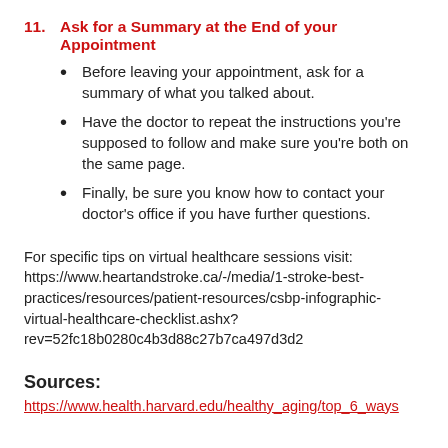11. Ask for a Summary at the End of your Appointment
Before leaving your appointment, ask for a summary of what you talked about.
Have the doctor to repeat the instructions you're supposed to follow and make sure you're both on the same page.
Finally, be sure you know how to contact your doctor's office if you have further questions.
For specific tips on virtual healthcare sessions visit: https://www.heartandstroke.ca/-/media/1-stroke-best-practices/resources/patient-resources/csbp-infographic-virtual-healthcare-checklist.ashx?rev=52fc18b0280c4b3d88c27b7ca497d3d2
Sources:
https://www.health.harvard.edu/healthy_aging/top_6_ways